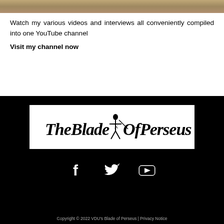[Figure (photo): Top photo strip showing sandy/rocky terrain]
Watch my various videos and interviews all conveniently compiled into one YouTube channel
Visit my channel now
[Figure (logo): The Blade Of Perseus logo — gothic blackletter text with a Perseus figure illustration, white background]
[Figure (illustration): Social media icons: Facebook, Twitter, YouTube — white icons on black background]
Copyright © 2022 VDU's Blade of Perseus | Privacy Notice